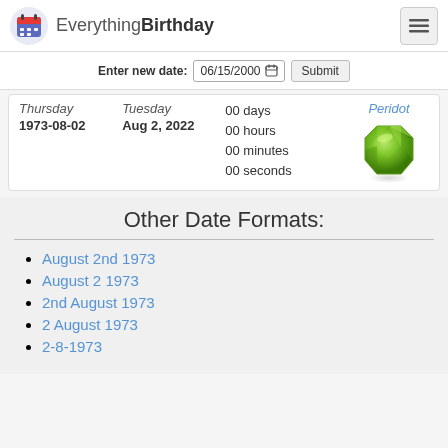EverythingBirthday
Enter new date: 06/15/2000  Submit
Thursday  Tuesday  00 days  Peridot
1973-08-02  Aug 2, 2022  00 hours
00 minutes
00 seconds
Other Date Formats:
August 2nd 1973
August 2 1973
2nd August 1973
2 August 1973
2-8-1973